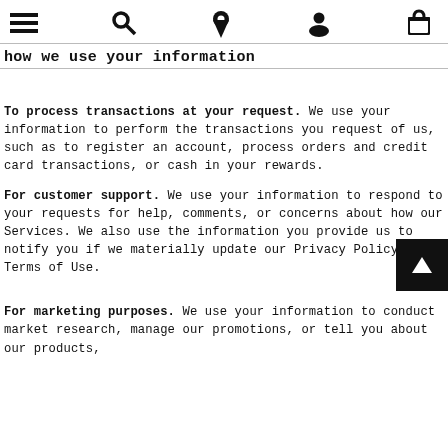[navigation icons: menu, search, location, account, bag]
how we use your information
To process transactions at your request. We use your information to perform the transactions you request of us, such as to register an account, process orders and credit card transactions, or cash in your rewards.
For customer support. We use your information to respond to your requests for help, comments, or concerns about how our Services. We also use the information you provide us to notify you if we materially update our Privacy Policy or Terms of Use.
For marketing purposes. We use your information to conduct market research, manage our promotions, or tell you about our products,